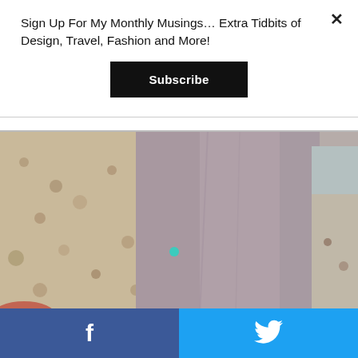Sign Up For My Monthly Musings… Extra Tidbits of Design, Travel, Fashion and More!
Subscribe
[Figure (photo): Person standing on a sandy beach wearing a mauve/grey sweatshirt, with sand and ocean visible in the background. A small teal/green dot of light appears on the sweatshirt.]
When it’s warmer, there is a fresh water lagoon you can swim in too.
f  [Facebook share button]  [Twitter share button]